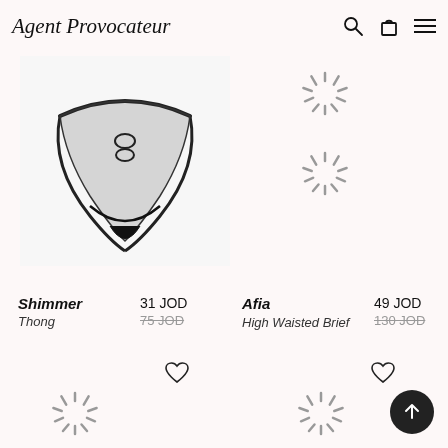Agent Provocateur
[Figure (photo): Black sheer mesh thong lingerie product photo on white background]
[Figure (other): Loading spinner icon (top right, position 1)]
[Figure (other): Loading spinner icon (top right, position 2)]
Shimmer
Thong
31 JOD
75 JOD
Afia
High Waisted Brief
49 JOD
130 JOD
[Figure (other): Loading spinner icon bottom left]
[Figure (other): Loading spinner icon bottom right]